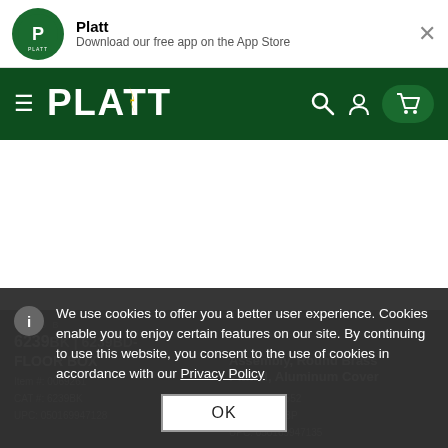Platt — Download our free app on the App Store
[Figure (screenshot): Platt website navigation bar with hamburger menu, PLATT logo in white on dark green background, search icon, user icon, and cart button]
[Figure (screenshot): Blank white content area of the Platt website]
HUBBELL
6239BK | 6239BD-
FLOOR BOX
Item #: 0069261
CAT #: 6239BK
UPC: 050169947128
Assembly, Round Brass Plated, Aluminum Cover
Item #: 0915552
CAT #: 6239BP
UPC: 050169947135
We use cookies to offer you a better user experience. Cookies enable you to enjoy certain features on our site. By continuing to use this website, you consent to the use of cookies in accordance with our Privacy Policy